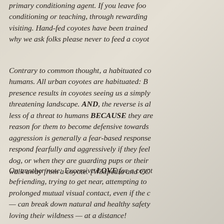primary conditioning agent. If you leave foo conditioning or teaching, through rewarding visiting. Hand-fed coyotes have been trained why we ask folks please never to feed a coyot
Contrary to common thought, a habituated co humans. All urban coyotes are habituated: B presence results in coyotes seeing us a simply threatening landscape. AND, the reverse is al less of a threat to humans BECAUSE they are reason for them to become defensive towards aggression is generally a fear-based response respond fearfully and aggressively if they feel dog, or when they are guarding pups or their walk away from a coyote. [Wikipedia and CC
On another note: Excessive LOVE for a coyot befriending, trying to get near, attempting to prolonged mutual visual contact, even if the c — can break down natural and healthy safety loving their wildness — at a distance!